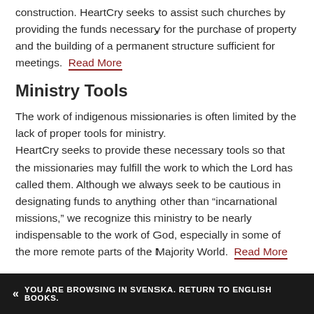construction. HeartCry seeks to assist such churches by providing the funds necessary for the purchase of property and the building of a permanent structure sufficient for meetings. Read More
Ministry Tools
The work of indigenous missionaries is often limited by the lack of proper tools for ministry. HeartCry seeks to provide these necessary tools so that the missionaries may fulfill the work to which the Lord has called them. Although we always seek to be cautious in designating funds to anything other than “incarnational missions,” we recognize this ministry to be nearly indispensable to the work of God, especially in some of the more remote parts of the Majority World. Read More
« YOU ARE BROWSING IN SVENSKA. RETURN TO ENGLISH BOOKS.